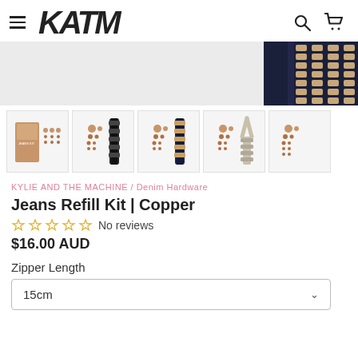KATM — Kylie and the Machine navigation header
[Figure (photo): Hero product image showing a navy blue zipper on a light grey background, cropped to show the right portion]
[Figure (photo): Thumbnail 1: Product packaging shot showing copper hardware on card]
[Figure (photo): Thumbnail 2: Copper dots with black zipper]
[Figure (photo): Thumbnail 3: Copper dots with navy zipper]
[Figure (photo): Thumbnail 4: Copper dots with beige/neutral zipper]
[Figure (photo): Thumbnail 5: Copper dots only, partial view]
KYLIE AND THE MACHINE / Denim Hardware
Jeans Refill Kit | Copper
☆ ☆ ☆ ☆ ☆  No reviews
$16.00 AUD
Zipper Length
15cm